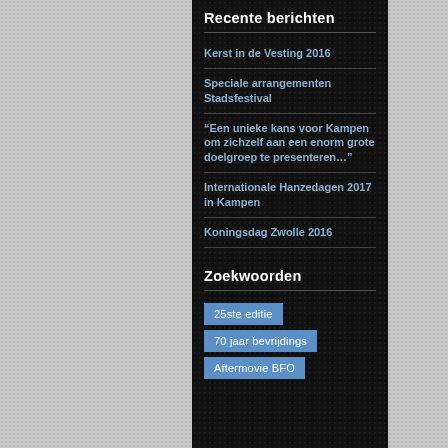Recente berichten
Kerst in de Vesting 2016
Speciale arrangementen Stadsfestival
“Een unieke kans voor Kampen om zichzelf aan een enorm grote doelgroep te presenteren…”
Internationale Hanzedagen 2017 in Kampen
Koningsdag Zwolle 2016
Zoekwoorden
25ste editie
70 jaar bevrijdings
Aftermovie BFO